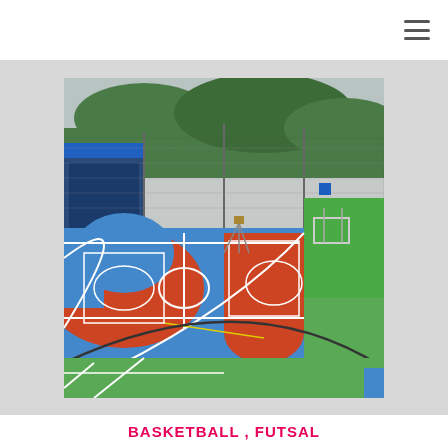[Figure (photo): Outdoor sports court with blue and green synthetic flooring with red painted key/painted areas, white court lines, surrounded by metal fencing and netting. A covered blue-roofed structure is visible on the left, trees in the background, and what appears to be a futsal/soccer goal in the distance.]
BASKETBALL , FUTSAL